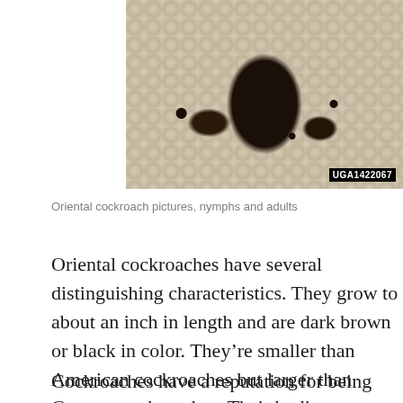[Figure (photo): Close-up photograph of an Oriental cockroach on a white/beige pebble or gravel substrate, with smaller cockroach nymphs visible. Watermark 'UGA1422067' in bottom right corner.]
Oriental cockroach pictures, nymphs and adults
Oriental cockroaches have several distinguishing characteristics. They grow to about an inch in length and are dark brown or black in color. They're smaller than American cockroaches but larger than German cockroaches. Their bodies appear glossy and their legs feature tiny hairs.
Cockroaches have a reputation for being quick, agile insects, but Oriental cockroaches are noticeably